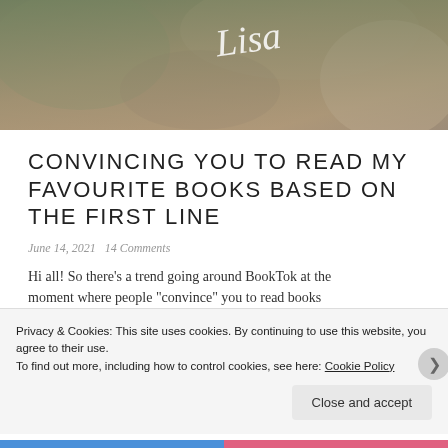[Figure (photo): Header image showing a close-up photograph of an animal (likely a cat or dog), with muted earthy tones and a cursive logo/signature overlay in white text.]
CONVINCING YOU TO READ MY FAVOURITE BOOKS BASED ON THE FIRST LINE
June 14, 2021   14 Comments
Hi all! So there's a trend going around BookTok at the moment where people "convince" you to read books
Privacy & Cookies: This site uses cookies. By continuing to use this website, you agree to their use.
To find out more, including how to control cookies, see here: Cookie Policy
Close and accept